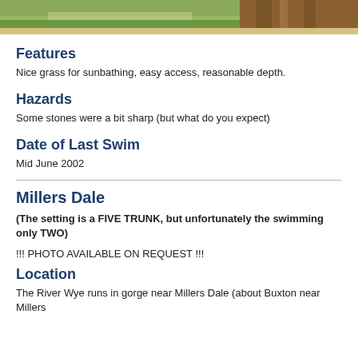[Figure (photo): Partial photo strip showing grass, water, and reeds along a riverbank]
Features
Nice grass for sunbathing, easy access, reasonable depth.
Hazards
Some stones were a bit sharp (but what do you expect)
Date of Last Swim
Mid June 2002
Millers Dale
(The setting is a FIVE TRUNK, but unfortunately the swimming only TWO)
!!! PHOTO AVAILABLE ON REQUEST !!!
Location
The River Wye runs in gorge near Millers Dale (about Buxton near Millers